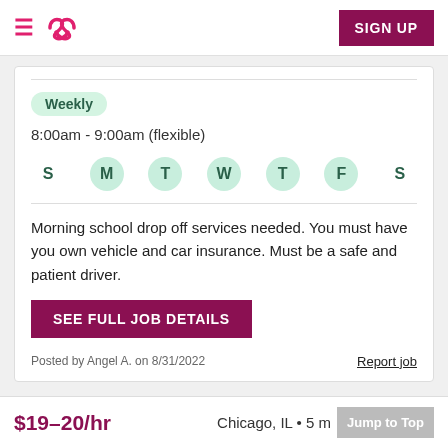≡ [Sittercity logo] | SIGN UP
Weekly
8:00am - 9:00am (flexible)
S M T W T F S (days of week, M T W T F active/highlighted)
Morning school drop off services needed. You must have you own vehicle and car insurance. Must be a safe and patient driver.
SEE FULL JOB DETAILS
Posted by Angel A. on 8/31/2022
Report job
$19–20/hr
Chicago, IL • 5 m
Jump to Top